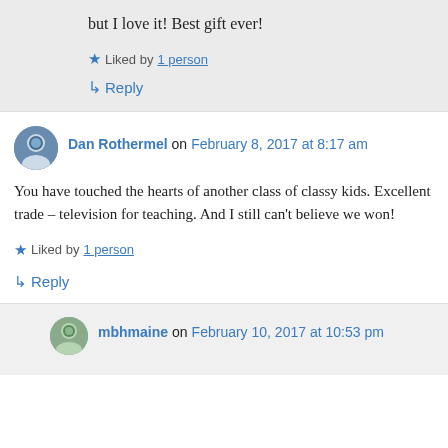but I love it! Best gift ever!
Liked by 1 person
Reply
Dan Rothermel on February 8, 2017 at 8:17 am
You have touched the hearts of another class of classy kids. Excellent trade – television for teaching. And I still can't believe we won!
Liked by 1 person
Reply
mbhmaine on February 10, 2017 at 10:53 pm